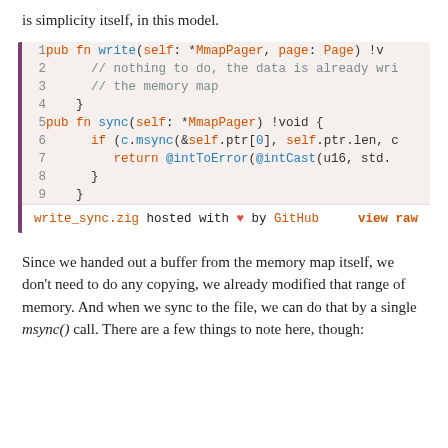is simplicity itself, in this model.
[Figure (screenshot): Code block showing Zig source code for write and sync functions using MmapPager, with syntax highlighting. Lines 1-9. Footer shows 'write_sync.zig hosted with ♥ by GitHub' and 'view raw'.]
Since we handed out a buffer from the memory map itself, we don't need to do any copying, we already modified that range of memory. And when we sync to the file, we can do that by a single msync() call. There are a few things to note here, though: